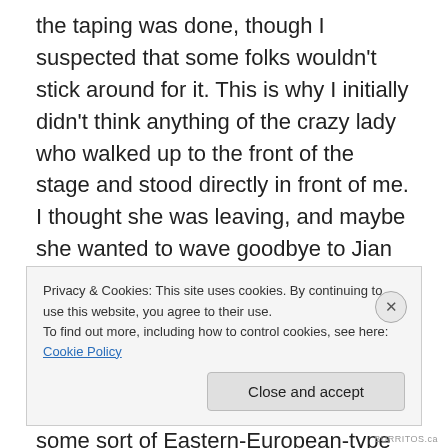the taping was done, though I suspected that some folks wouldn't stick around for it. This is why I initially didn't think anything of the crazy lady who walked up to the front of the stage and stood directly in front of me. I thought she was leaving, and maybe she wanted to wave goodbye to Jian before she left, but no. She wanted to talk to him, and she wanted a hug, and Jian seemed a bit perplexed by this but gave her a hug and asked her name. “I no have name,” she said, in some sort of Eastern-European-type accent. “That’s odd, most people do,” mused Jian, as his smiling producer strolled over to usher the lady back to her
Privacy & Cookies: This site uses cookies. By continuing to use this website, you agree to their use.
To find out more, including how to control cookies, see here: Cookie Policy